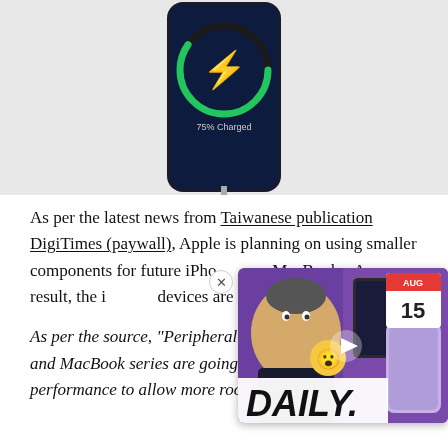[Figure (photo): iPhone showing MagSafe wireless charging indicator with green circle, lightning bolt icon, and '75% Charged' text on screen, on light gray background]
As per the latest news from Taiwanese publication DigiTimes (paywall), Apple is planning on using smaller components for future iPhones and MacBooks. As a result, the internal devices are set to get a boost
[Figure (screenshot): Video overlay thumbnail showing a man, emoji face, Samsung Galaxy Z Fold phone, Galaxy Z Flip phone, calendar showing AUG 15, and 'DAILY.' text with play button]
As per the source, "Peripheral chips for iPhones, iPad and MacBook series are going slimmer with higher performance to allow more room for larger capacity